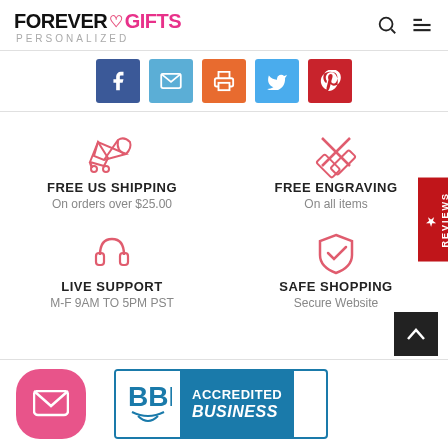FOREVER GIFTS PERSONALIZED
[Figure (infographic): Social share buttons: Facebook, Email, Print, Twitter, Pinterest]
[Figure (infographic): Free US Shipping icon (airplane) - On orders over $25.00]
FREE US SHIPPING
On orders over $25.00
[Figure (infographic): Free Engraving icon (pencil and ruler crossed) - On all items]
FREE ENGRAVING
On all items
[Figure (infographic): Live Support icon (headphones) - M-F 9AM TO 5PM PST]
LIVE SUPPORT
M-F 9AM TO 5PM PST
[Figure (infographic): Safe Shopping icon (shield with checkmark) - Secure Website]
SAFE SHOPPING
Secure Website
[Figure (logo): BBB Accredited Business badge]
ACCREDITED BUSINESS